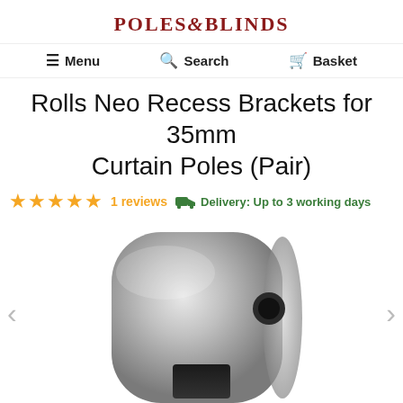POLES & BLINDS
Menu   Search   Basket
Rolls Neo Recess Brackets for 35mm Curtain Poles (Pair)
★★★★★ 1 reviews   Delivery: Up to 3 working days
[Figure (photo): Close-up photo of a brushed chrome/satin nickel recess bracket for a 35mm curtain pole, showing the curved metal housing with a circular hole and rectangular slot opening.]